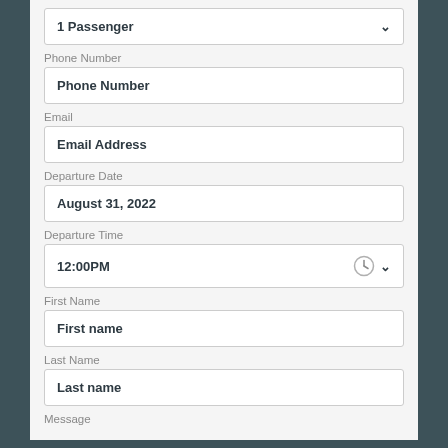1 Passenger
Phone Number
Phone Number
Email
Email Address
Departure Date
August 31, 2022
Departure Time
12:00PM
First Name
First name
Last Name
Last name
Message